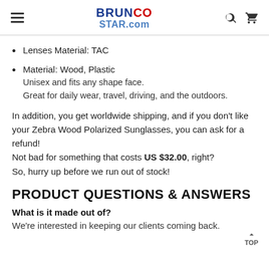BRUNCO STAR.com
Lenses Material: TAC
Material: Wood, Plastic
Unisex and fits any shape face.
Great for daily wear, travel, driving, and the outdoors.
In addition, you get worldwide shipping, and if you don't like your Zebra Wood Polarized Sunglasses, you can ask for a refund!
Not bad for something that costs US $32.00, right?
So, hurry up before we run out of stock!
PRODUCT QUESTIONS & ANSWERS
What is it made out of?
We're interested in keeping our clients coming back.